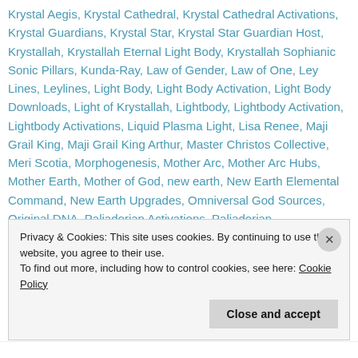Krystal Aegis, Krystal Cathedral, Krystal Cathedral Activations, Krystal Guardians, Krystal Star, Krystal Star Guardian Host, Krystallah, Krystallah Eternal Light Body, Krystallah Sophianic Sonic Pillars, Kunda-Ray, Law of Gender, Law of One, Ley Lines, Leylines, Light Body, Light Body Activation, Light Body Downloads, Light of Krystallah, Lightbody, Lightbody Activation, Lightbody Activations, Liquid Plasma Light, Lisa Renee, Maji Grail King, Maji Grail King Arthur, Master Christos Collective, Meri Scotia, Morphogenesis, Mother Arc, Mother Arc Hubs, Mother Earth, Mother of God, new earth, New Earth Elemental Command, New Earth Upgrades, Omniversal God Sources, Original DNA, Paliadorian Activations, Paliadorian
Privacy & Cookies: This site uses cookies. By continuing to use this website, you agree to their use.
To find out more, including how to control cookies, see here: Cookie Policy